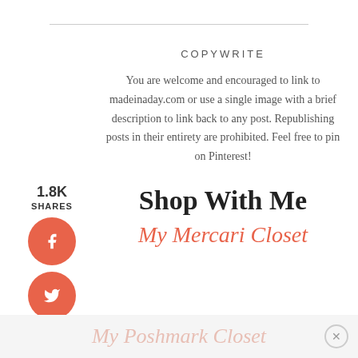COPYWRITE
You are welcome and encouraged to link to madeinaday.com or use a single image with a brief description to link back to any post. Republishing posts in their entirety are prohibited. Feel free to pin on Pinterest!
Shop With Me
My Mercari Closet
My Poshmark Closet
1.8K SHARES